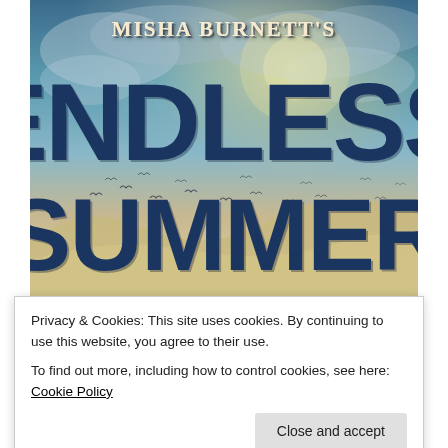[Figure (illustration): Book cover for 'Misha Burnett's Endless Summer' showing a dramatic sky with clouds, sunlight, sandy dunes, and birds flying in silhouette. Large bold dark blue text dominates the cover against a teal/golden sky background.]
Privacy & Cookies: This site uses cookies. By continuing to use this website, you agree to their use.
To find out more, including how to control cookies, see here: Cookie Policy
[Figure (illustration): Bottom strip showing another book cover partially visible — dark tones with golden text, appears to be another Misha Burnett title.]